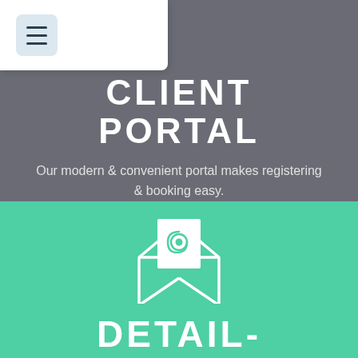[Figure (illustration): Hamburger menu icon button with three horizontal lines on a light blue rounded square background]
CLIENT PORTAL
Our modern & convenient portal makes registering & booking easy.
[Figure (illustration): Email envelope icon with @ symbol on letter, open envelope outline in white on teal background]
DETAILED DAILY REPORTS